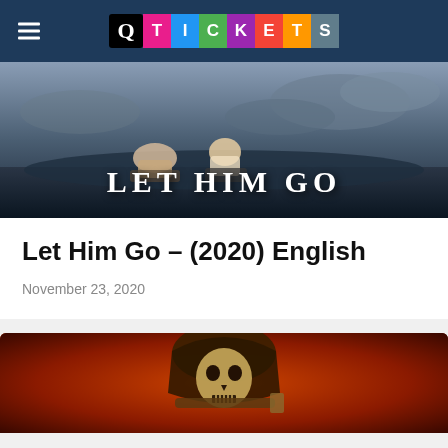Q TICKETS
[Figure (photo): Movie banner for 'Let Him Go' showing two figures sitting outdoors against a cloudy sky, with title text 'LET HIM GO' in large serif letters]
Let Him Go – (2020) English
November 23, 2020
[Figure (photo): Movie banner showing a skull-masked figure in a hooded robe holding a weapon against an orange-red background]